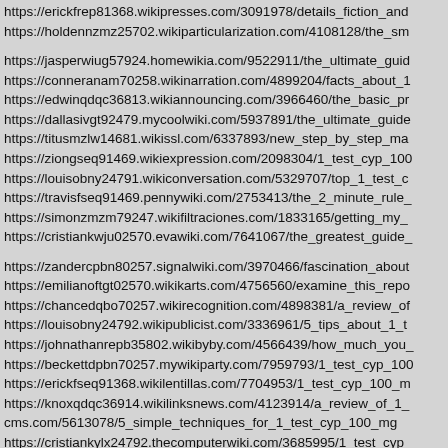https://erickfrep81368.wikipresses.com/3091978/details_fiction_and
https://holdennzmz25702.wikiparticularization.com/4108128/the_sm
https://jasperwiug57924.homewikia.com/9522911/the_ultimate_guid
https://conneranam70258.wikinarration.com/4899204/facts_about_1
https://edwinqdqc36813.wikiannouncing.com/3966460/the_basic_pr
https://dallasivgt92479.mycoolwiki.com/5937891/the_ultimate_guide
https://titusmzlw14681.wikissl.com/6337893/new_step_by_step_ma
https://ziongseq91469.wikiexpression.com/2098304/1_test_cyp_100
https://louisobny24791.wikiconversation.com/5329707/top_1_test_c
https://travisfseq91469.pennywiki.com/2753413/the_2_minute_rule_
https://simonzmzm79247.wikifiltraciones.com/1833165/getting_my_
https://cristiankwju02570.evawiki.com/7641067/the_greatest_guide_
https://zandercpbn80257.signalwiki.com/3970466/fascination_about
https://emilianoftgt02570.wikikarts.com/4756560/examine_this_repo
https://chancedqbo70257.wikirecognition.com/4898381/a_review_of
https://louisobny24792.wikipublicist.com/3336961/5_tips_about_1_t
https://johnathanrepb35802.wikibyby.com/4566439/how_much_you_
https://beckettdpbn70257.mywikiparty.com/7959793/1_test_cyp_100
https://erickfseq91368.wikilentillas.com/7704953/1_test_cyp_100_m
https://knoxqdqc36914.wikilinksnews.com/4123914/a_review_of_1_
cms.com/5613078/5_simple_techniques_for_1_test_cyp_100_mg
https://cristiankylx24792.thecomputerwiki.com/3685995/1_test_cyp_
https://rylanwivg57025.wikiadvocate.com/4876599/examine_this_re
https://knoxqdqc36914.wikilinksnews.com/4123914/a_review_of_1_